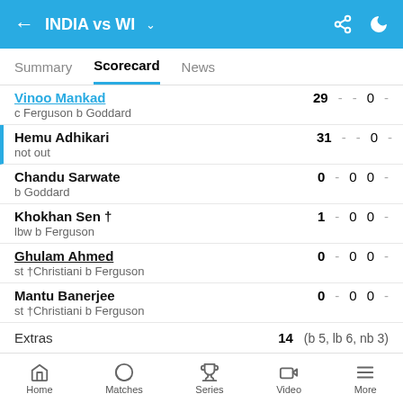INDIA vs WI
Summary | Scorecard | News
Vinoo Mankad — 29 - - 0 - | c Ferguson b Goddard
Hemu Adhikari — 31 - - 0 - | not out
Chandu Sarwate — 0 - 0 0 - | b Goddard
Khokhan Sen † — 1 - 0 0 - | lbw b Ferguson
Ghulam Ahmed — 0 - 0 0 - | st †Christiani b Ferguson
Mantu Banerjee — 0 - 0 0 - | st †Christiani b Ferguson
Extras 14 (b 5, lb 6, nb 3)
Home | Matches | Series | Video | More